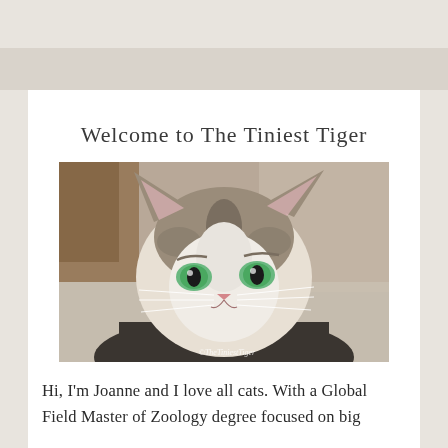Welcome to The Tiniest Tiger
[Figure (photo): Close-up photo of a tabby kitten with green eyes, white and grey/brown striped markings, looking directly at camera. Watermark reads ©TheTiniestTiger]
Hi, I'm Joanne and I love all cats. With a Global Field Master of Zoology degree focused on big